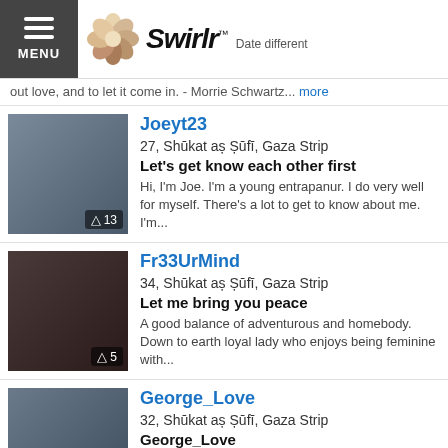Swirlr – Date different
out love, and to let it come in. - Morrie Schwartz... more
Joeyt23
27, Shūkat aș Șūfī, Gaza Strip
Let's get know each other first
Hi, I'm Joe. I'm a young entrapanur. I do very well for myself. There's a lot to get to know about me. I'm...
Fr33UrMind
34, Shūkat aș Șūfī, Gaza Strip
Let me bring you peace
A good balance of adventurous and homebody. Down to earth loyal lady who enjoys being feminine with...
George_Love
32, Shūkat aș Șūfī, Gaza Strip
George_Love
Hello, I'm a 32 year old White guy looking for marriage around the London, England area more